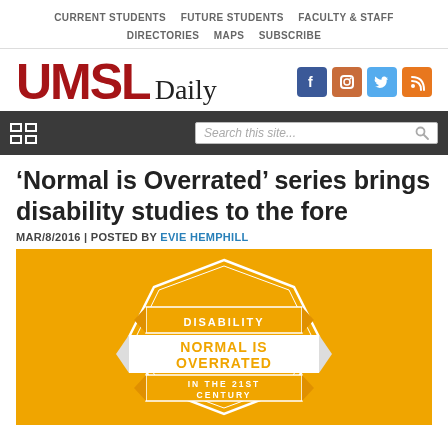CURRENT STUDENTS   FUTURE STUDENTS   FACULTY & STAFF   DIRECTORIES   MAPS   SUBSCRIBE
[Figure (logo): UMSL Daily logo with social media icons (Facebook, Instagram, Twitter, RSS)]
[Figure (other): Dark navigation bar with grid menu icon on left and search box on right]
‘Normal is Overrated’ series brings disability studies to the fore
MAR/8/2016 | POSTED BY EVIE HEMPHILL
[Figure (infographic): Orange badge/emblem graphic with text: DISABILITY / NORMAL IS OVERRATED / IN THE 21ST CENTURY]